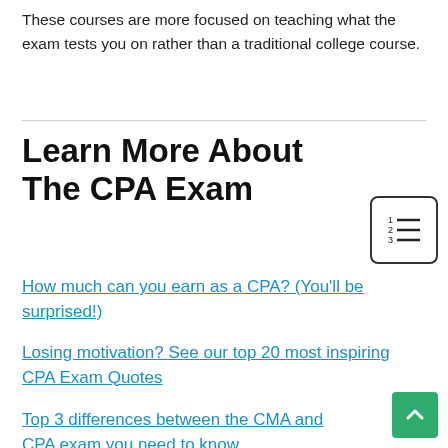These courses are more focused on teaching what the exam tests you on rather than a traditional college course.
Learn More About The CPA Exam
How much can you earn as a CPA? (You'll be surprised!)
Losing motivation? See our top 20 most inspiring CPA Exam Quotes
Top 3 differences between the CMA and CPA exam you need to know